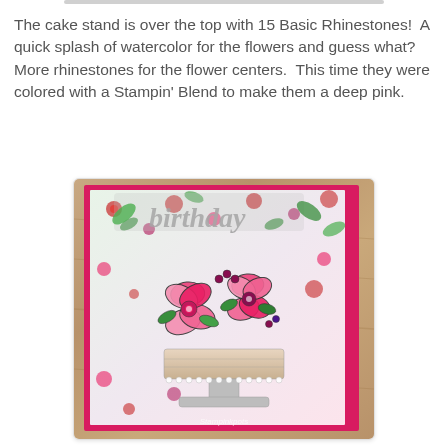The cake stand is over the top with 15 Basic Rhinestones!  A quick splash of watercolor for the flowers and guess what?  More rhinestones for the flower centers.  This time they were colored with a Stampin' Blend to make them a deep pink.
[Figure (photo): A handcrafted greeting card featuring a cake stand decorated with large pink flowers, rhinestones, and floral patterned paper, layered on a hot pink card base, displayed on a wooden surface background. Watermark reads 'Stampinkpots'.]